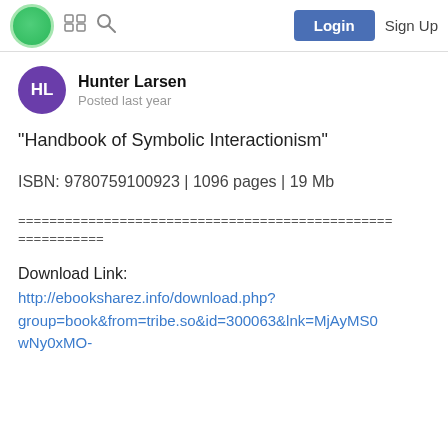Hunter Larsen | Login | Sign Up
Hunter Larsen
Posted last year
"Handbook of Symbolic Interactionism"
ISBN: 9780759100923 | 1096 pages | 19 Mb
================================================
===========
Download Link:
http://ebooksharez.info/download.php?group=book&from=tribe.so&id=300063&lnk=MjAyMS0wNy0xMO-